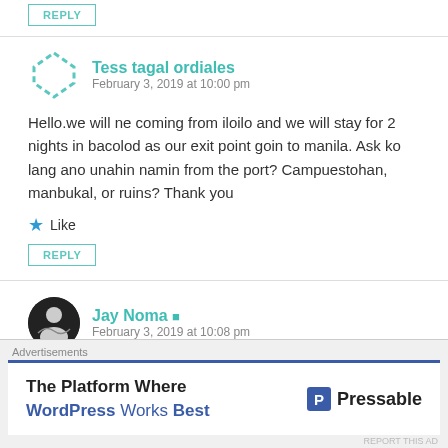REPLY
Tess tagal ordiales
February 3, 2019 at 10:00 pm
Hello.we will ne coming from iloilo and we will stay for 2 nights in bacolod as our exit point goin to manila. Ask ko lang ano unahin namin from the port? Campuestohan, manbukal, or ruins? Thank you
Like
REPLY
Jay Noma
February 3, 2019 at 10:08 pm
Advertisements
The Platform Where WordPress Works Best
Pressable